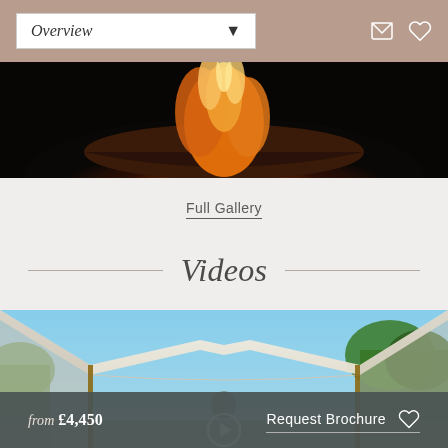Overview
[Figure (photo): Close-up photo of a fire burning in a dark bowl-shaped fire pit against a black background]
Full Gallery
Videos
[Figure (photo): Outdoor tent/marquee wedding venue with white canvas ceiling and wooden poles, trees and blue sky visible in background, couple visible in distance]
from £4,450  Request Brochure